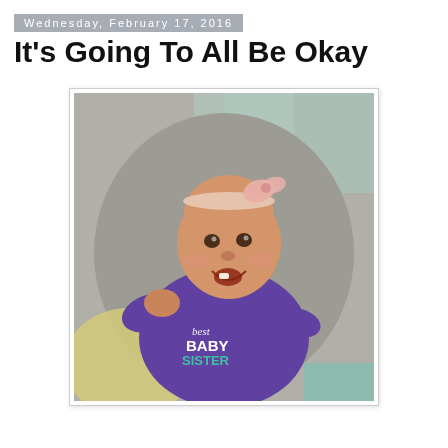Wednesday, February 17, 2016
It's Going To All Be Okay
[Figure (photo): A smiling baby girl lying on a grey cushioned surface, wearing a purple onesie that reads 'best BABY SISTER', with a pink bow headband. She appears happy and laughing.]